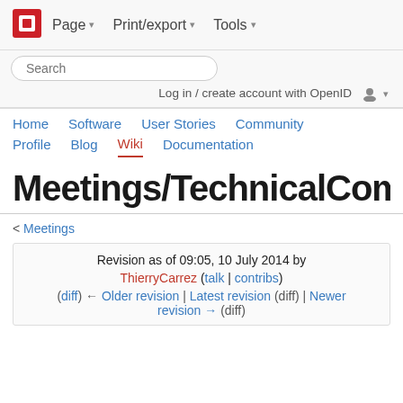[Figure (logo): OpenStack logo - red square icon with white square cutout]
Page ▾   Print/export ▾   Tools ▾
Search
Log in / create account with OpenID
Home   Software   User Stories   Community   Profile   Blog   Wiki   Documentation
Meetings/TechnicalComm
< Meetings
Revision as of 09:05, 10 July 2014 by ThierryCarrez (talk | contribs)
(diff) ← Older revision | Latest revision (diff) | Newer revision → (diff)